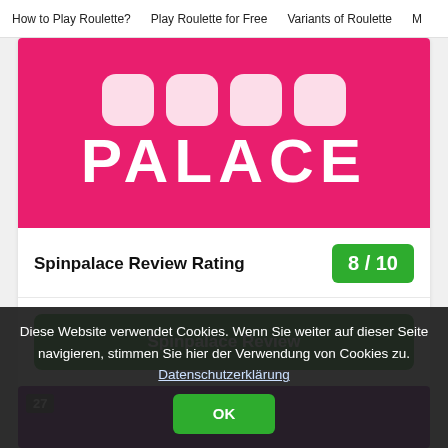How to Play Roulette?   Play Roulette for Free   Variants of Roulette   M
[Figure (logo): Spin Palace casino logo: white rounded square icons on top, large white bold text 'PALACE' on pink/magenta background]
Spinpalace Review Rating
8 / 10
Spinpalace Review
[Figure (other): Purple banner with number 27 badge in top-left corner]
Diese Website verwendet Cookies. Wenn Sie weiter auf dieser Seite navigieren, stimmen Sie hier der Verwendung von Cookies zu. Datenschutzerklärung
OK